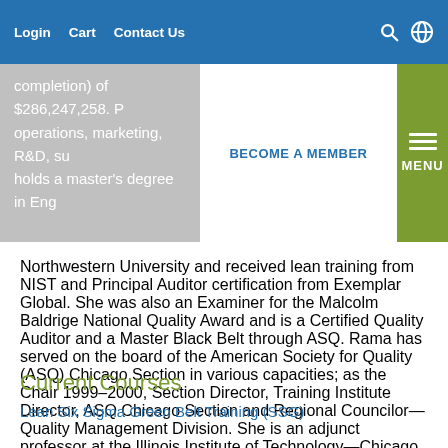Login  Cart  Contact Us  [search] [globe] BECOME A MEMBER  MENU
completion) of $286,247,258. P... operations, marketing, R&D, su... holds a master's degree in Eng... Northwestern University and received lean training from NIST and Principal Auditor certification from Exemplar Global. She was also an Examiner for the Malcolm Baldrige National Quality Award and is a Certified Quality Auditor and a Master Black Belt through ASQ. Rama has served on the board of the American Society for Quality (ASQ) Chicago Section in various capacities; as the Chair 1999–2000, Section Director, Training Institute Director, ASQ Chicago Section and Regional Councilor—Quality Management Division. She is an adjunct professor at the Illinois Institute of Technology—Chicago and visiting faculty at the Great Lakes Institute of Management, India.
Current Courses
Lean Six Sigma Green Belt Training (SSG)